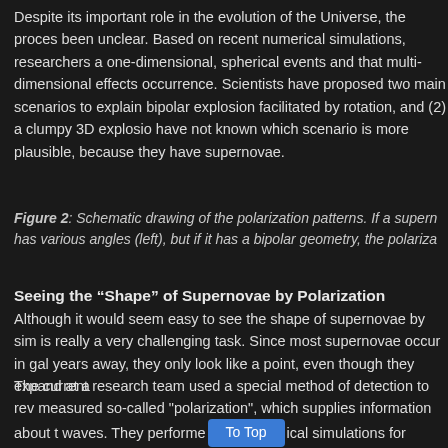Despite its important role in the evolution of the Universe, the process has been unclear. Based on recent numerical simulations, researchers assumed one-dimensional, spherical events and that multi-dimensional effects drive occurrence. Scientists have proposed two main scenarios to explain bipolar explosion facilitated by rotation, and (2) a clumpy 3D explosion have not known which scenario is more plausible, because they have supernovae.
Figure 2: Schematic drawing of the polarization patterns. If a supern has various angles (left), but if it has a bipolar geometry, the polariza
Seeing the “Shape” of Supernovae by Polarization
Although it would seem easy to see the shape of supernovae by sim is really a very challenging task. Since most supernovae occur in gal years away, they only look like a point, even though they expand at a
The current research team used a special method of detection to rev measured so-called "polarization", which supplies information about waves. They performed [To Top] ical simulations for emissions from su polarization patterns for spherical and bipolar supernova.